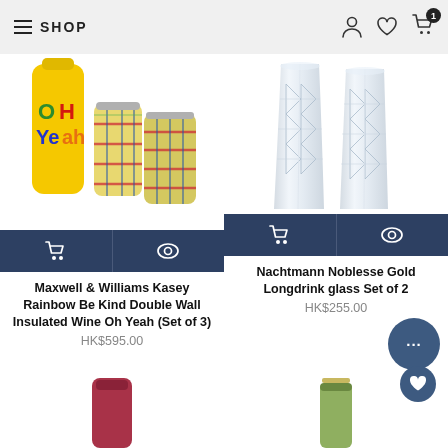SHOP
[Figure (photo): Maxwell & Williams Kasey Rainbow Be Kind Double Wall Insulated Wine Oh Yeah set showing yellow bottle and two plaid tumblers]
[Figure (photo): Nachtmann Noblesse Gold Longdrink glass Set of 2, two crystal glasses]
Maxwell & Williams Kasey Rainbow Be Kind Double Wall Insulated Wine Oh Yeah (Set of 3)
HK$595.00
Nachtmann Noblesse Gold Longdrink glass Set of 2
HK$255.00
[Figure (photo): Partial view of bottom-left product (red item)]
[Figure (photo): Partial view of bottom-right product (green thermos bottle)]